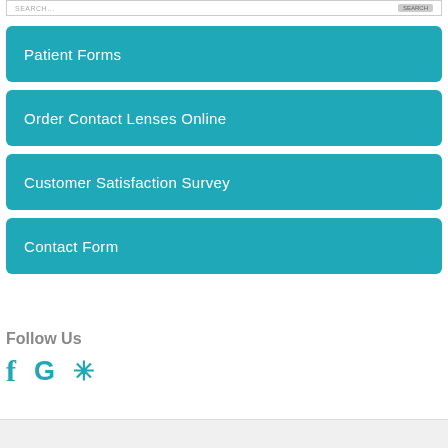Patient Forms
Order Contact Lenses Online
Customer Satisfaction Survey
Contact Form
Follow Us
[Figure (illustration): Social media icons: Facebook (f), Google (G), Yelp (star/asterisk) in teal color]